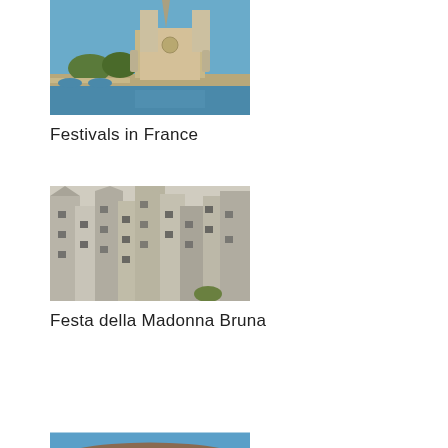[Figure (photo): Notre Dame Cathedral in Paris viewed from across the Seine river, with a bridge and trees visible]
Festivals in France
[Figure (photo): Aerial view of dense ancient stone buildings in Matera, Italy, cave dwellings (Sassi di Matera)]
Festa della Madonna Bruna
[Figure (photo): Coastal city with orange/red rooftops viewed from the water, possibly Dubrovnik or similar Mediterranean city]